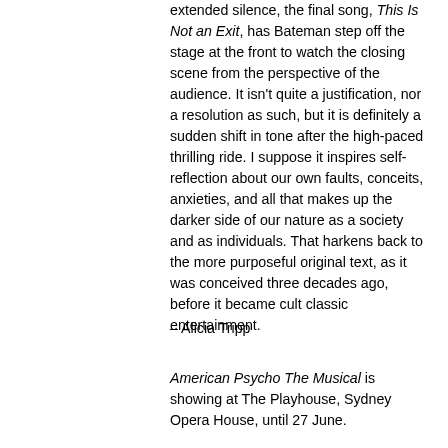extended silence, the final song, This Is Not an Exit, has Bateman step off the stage at the front to watch the closing scene from the perspective of the audience. It isn't quite a justification, nor a resolution as such, but it is definitely a sudden shift in tone after the high-paced thrilling ride. I suppose it inspires self-reflection about our own faults, conceits, anxieties, and all that makes up the darker side of our nature as a society and as individuals. That harkens back to the more purposeful original text, as it was conceived three decades ago, before it became cult classic entertainment.
– Alicia Tripp
American Psycho The Musical is showing at The Playhouse, Sydney Opera House, until 27 June.